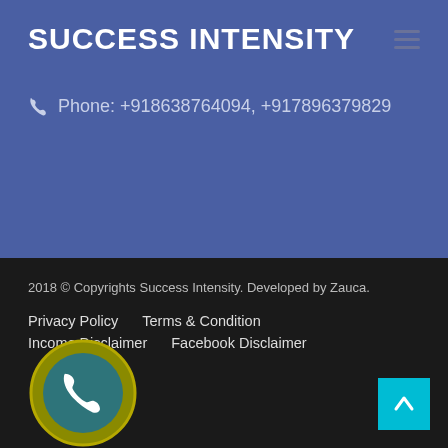SUCCESS INTENSITY
Phone: +918638764094, +917896379829
2018 © Copyrights Success Intensity. Developed by Zauca.
Privacy Policy
Terms & Condition
Income Disclaimer
Facebook Disclaimer
[Figure (illustration): Phone call badge icon — circular with olive/yellow outer ring, teal inner circle, white phone handset icon]
[Figure (illustration): Scroll-to-top button — cyan/light blue square with white upward arrow]